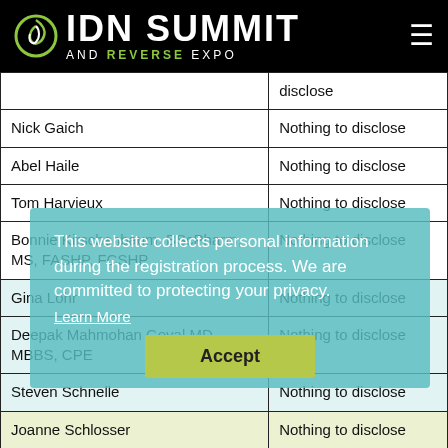IDN SUMMIT AND REVERSE EXPO
| Name | Disclosure |
| --- | --- |
|  | disclose |
| Nick Gaich | Nothing to disclose |
| Abel Haile | Nothing to disclose |
| Tom Harvieux | Nothing to disclose |
| Bonnie Kirschenbaum, BScPharm, MS, FASHP, FCSHP | Nothing to disclose |
| Gina Lohr | Nothing to disclose |
| Deepak Mahmohan Goyal MD, MBBS, CPE | Nothing to disclose |
| Steven Schnelle | Nothing to disclose |
| Joanne Schlosser | Nothing to disclose |
| Rodney Whitlock, PhD | Nothing to disclose |
| Koppy Yu, Pharm D., MBA, ACE | Nothing to |
This website collects personal information during the registration process. We are committed to protecting your privacy. Learn More
Accept